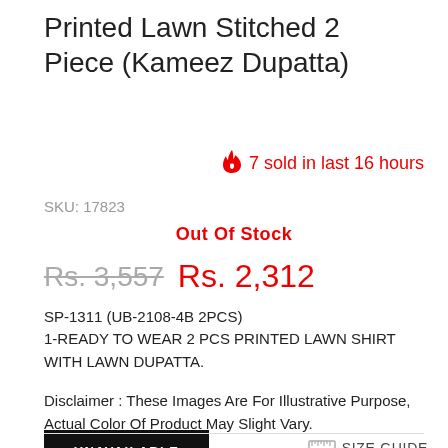Printed Lawn Stitched 2 Piece (Kameez Dupatta)
🔥 7 sold in last 16 hours
SKU: 17823
Out Of Stock
Rs. 3,557  Rs. 2,312
SP-1311 (UB-2108-4B 2PCS)
1-READY TO WEAR 2 PCS PRINTED LAWN SHIRT WITH LAWN DUPATTA.
Disclaimer : These Images Are For Illustrative Purpose, Actual Color Of Product May Slight Vary.
UNAVAILABLE
SIZE GUIDE